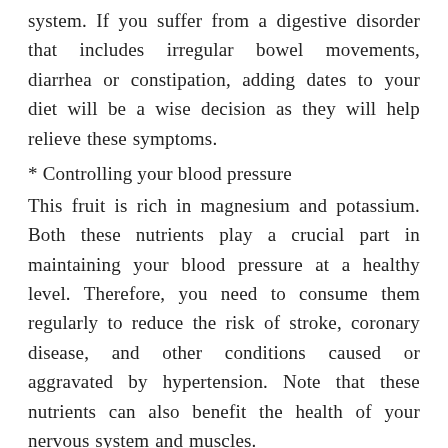system. If you suffer from a digestive disorder that includes irregular bowel movements, diarrhea or constipation, adding dates to your diet will be a wise decision as they will help relieve these symptoms.
* Controlling your blood pressure
This fruit is rich in magnesium and potassium. Both these nutrients play a crucial part in maintaining your blood pressure at a healthy level. Therefore, you need to consume them regularly to reduce the risk of stroke, coronary disease, and other conditions caused or aggravated by hypertension. Note that these nutrients can also benefit the health of your nervous system and muscles.
* Removing "bad" cholesterol from your system
Antioxidants, polyphenols, and tannins from Medjool dates can not only stop the buildup of "bad" LDL cholesterol in your system but also remove it from your body. Therefore, eating